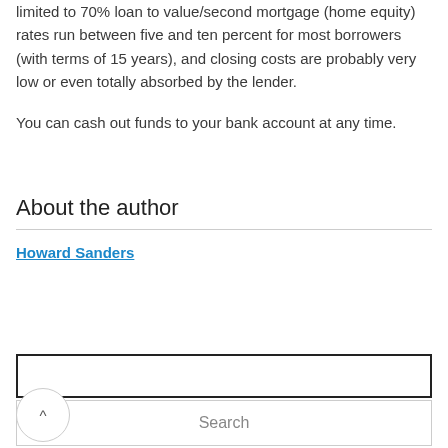limited to 70% loan to value/second mortgage (home equity) rates run between five and ten percent for most borrowers (with terms of 15 years), and closing costs are probably very low or even totally absorbed by the lender.
You can cash out funds to your bank account at any time.
About the author
Howard Sanders